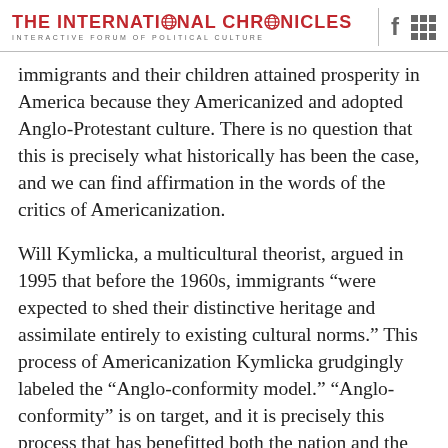THE INTERNATIONAL CHRONICLES | INTERACTIVE FORUM OF POLITICAL CULTURE
immigrants and their children attained prosperity in America because they Americanized and adopted Anglo-Protestant culture. There is no question that this is precisely what historically has been the case, and we can find affirmation in the words of the critics of Americanization.
Will Kymlicka, a multicultural theorist, argued in 1995 that before the 1960s, immigrants “were expected to shed their distinctive heritage and assimilate entirely to existing cultural norms.” This process of Americanization Kymlicka grudgingly labeled the “Anglo-conformity model.” “Anglo-conformity” is on target, and it is precisely this process that has benefitted both the nation and the